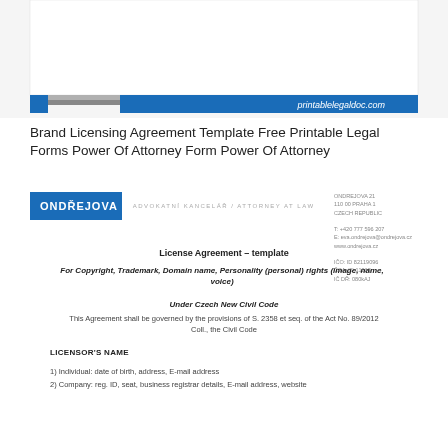[Figure (illustration): Header graphic with gray and blue horizontal bands, small blue square on left, and 'printablelegaldoc.com' text on blue banner on right]
Brand Licensing Agreement Template Free Printable Legal Forms Power Of Attorney Form Power Of Attorney
[Figure (logo): Ondrejova law firm logo: blue rectangle with 'ONDREJOVA' text, subtitle 'ADVOKATNI KANCELAR / ATTORNEY AT LAW', and address details on right]
License Agreement – template
For Copyright, Trademark, Domain name, Personality (personal) rights (image, name, voice)
Under Czech New Civil Code
This Agreement shall be governed by the provisions of S. 2358 et seq. of the Act No. 89/2012 Coll., the Civil Code
LICENSOR'S NAME
1) Individual: date of birth, address, E-mail address
2) Company: reg. ID, seat, business registrar details, E-mail address, website